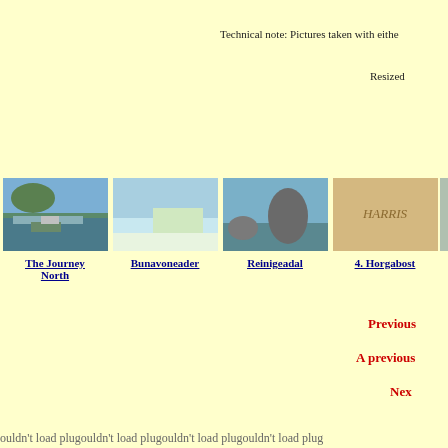Technical note: Pictures taken with eithe
Resized
[Figure (photo): Thumbnail photo 1: landscape with bridge and car by water - The Journey North]
[Figure (photo): Thumbnail photo 2: coastal beach scene - Bunavoneader]
[Figure (photo): Thumbnail photo 3: rocky landscape with water - Reinigeadal]
[Figure (photo): Thumbnail photo 4: Sand with word HARRIS written - 4. Horgabost]
[Figure (photo): Thumbnail photo 5 (partial) - 5.]
Previous
A previous
Nex
ouldn't load plugouldn't load plugouldn't load plugouldn't load plug